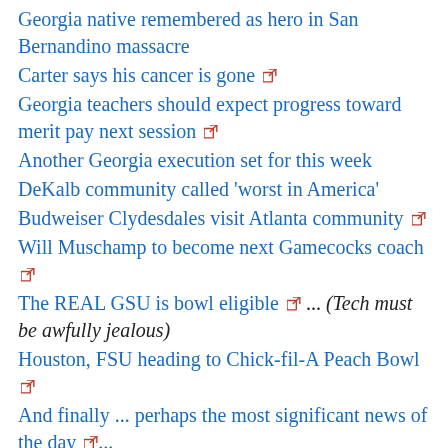Georgia native remembered as hero in San Bernandino massacre
Carter says his cancer is gone ↗
Georgia teachers should expect progress toward merit pay next session ↗
Another Georgia execution set for this week
DeKalb community called 'worst in America'
Budweiser Clydesdales visit Atlanta community ↗
Will Muschamp to become next Gamecocks coach ↗
The REAL GSU is bowl eligible ↗ ... (Tech must be awfully jealous)
Houston, FSU heading to Chick-fil-A Peach Bowl ↗
And finally ... perhaps the most significant news of the day ↗...